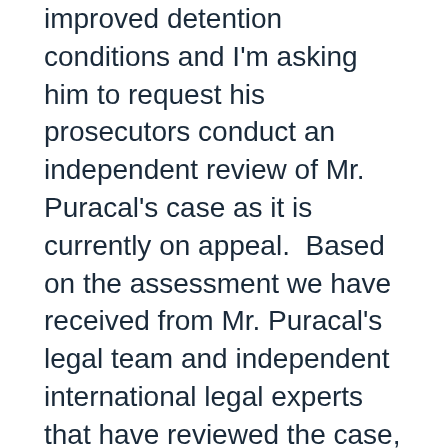improved detention conditions and I'm asking him to request his prosecutors conduct an independent review of Mr. Puracal's case as it is currently on appeal.  Based on the assessment we have received from Mr. Puracal's legal team and independent international legal experts that have reviewed the case, there is a compelling need for a thorough and objective prosecutorial review of Mr. Puracal's case to determine his innocence under Nicaraguan law.
"The manner in which Mr. Puracal's case has been handled is incredibly unsettling. My hope is that this letter and our efforts will lead to a thorough independent investigation and will ensure the conditions under which Mr. Puracal is currently being held are improved to come into full